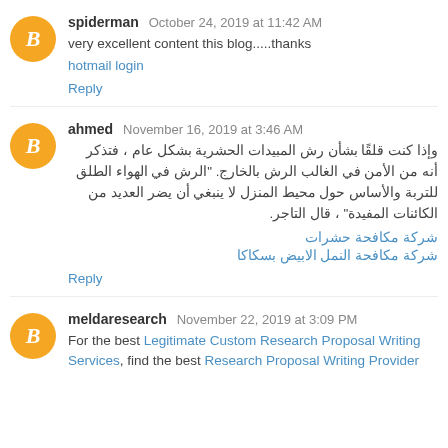spiderman October 24, 2019 at 11:42 AM
very excellent content this blog.....thanks
hotmail login
Reply
ahmed November 16, 2019 at 3:46 AM
وإذا كنت قلقًا بشأن رش المبيدات الحشرية بشكل عام ، فتذكر أنه من الأمن في الغالب الرش بالخارج. "الرش في الهواء الطلق للتربة والأساس حول محيط المنزل لا ينبغي أن يضر العديد من الكائنات المفيدة" ، قال التاجر.
شركة مكافحة حشرات
شركة مكافحة النمل الابيض بسكاكا
Reply
meldaresearch November 22, 2019 at 3:09 PM
For the best Legitimate Custom Research Proposal Writing Services, find the best Research Proposal Writing Provider